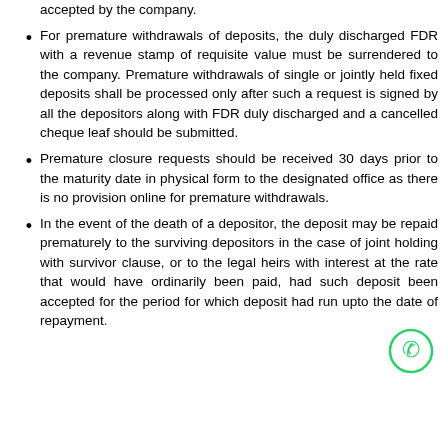accepted by the company.
For premature withdrawals of deposits, the duly discharged FDR with a revenue stamp of requisite value must be surrendered to the company. Premature withdrawals of single or jointly held fixed deposits shall be processed only after such a request is signed by all the depositors along with FDR duly discharged and a cancelled cheque leaf should be submitted.
Premature closure requests should be received 30 days prior to the maturity date in physical form to the designated office as there is no provision online for premature withdrawals.
In the event of the death of a depositor, the deposit may be repaid prematurely to the surviving depositors in the case of joint holding with survivor clause, or to the legal heirs with interest at the rate that would have ordinarily been paid, had such deposit been accepted for the period for which deposit had run upto the date of repayment.